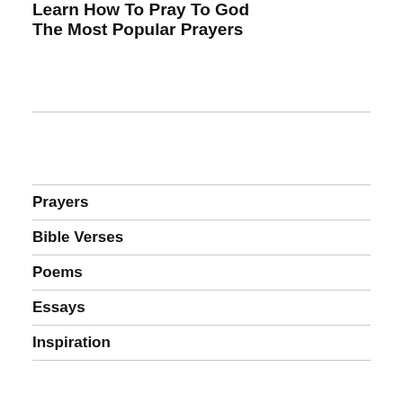Learn How To Pray To God
The Most Popular Prayers
Prayers
Bible Verses
Poems
Essays
Inspiration